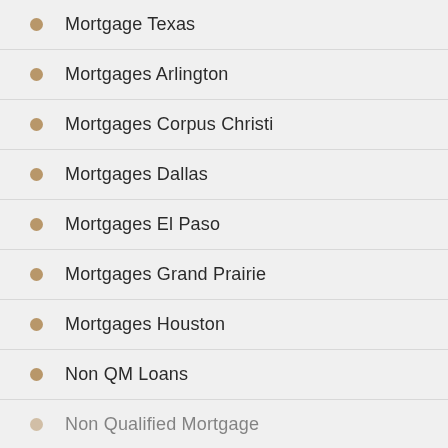Mortgage Texas
Mortgages Arlington
Mortgages Corpus Christi
Mortgages Dallas
Mortgages El Paso
Mortgages Grand Prairie
Mortgages Houston
Non QM Loans
Non Qualified Mortgage